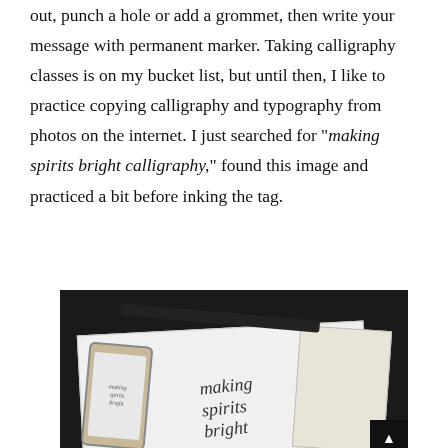out, punch a hole or add a grommet, then write your message with permanent marker. Taking calligraphy classes is on my bucket list, but until then, I like to practice copying calligraphy and typography from photos on the internet. I just searched for "making spirits bright calligraphy," found this image and practiced a bit before inking the tag.
[Figure (photo): A flat-lay photo on a dark background showing a white paper with handwritten calligraphy reading 'making spirits bright', a black marker/pen, a smartphone displaying calligraphy reference, a kraft tag, and small practice cards.]